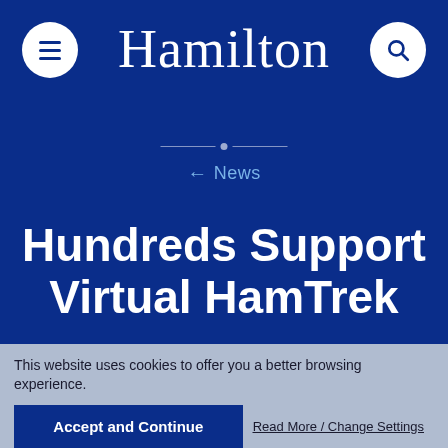Hamilton
← News
Hundreds Support Virtual HamTrek
by Michelle Chung '20
May 4, 2020
Student Experience
This website uses cookies to offer you a better browsing experience.
Accept and Continue
Read More / Change Settings